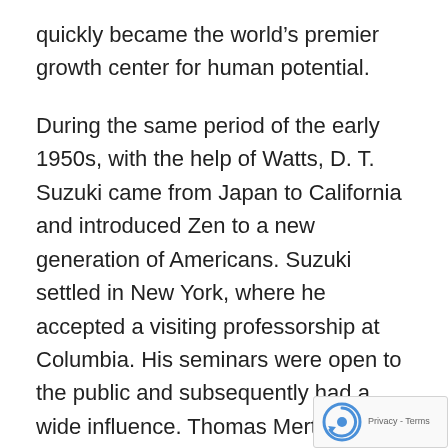quickly became the world's premier growth center for human potential.
During the same period of the early 1950s, with the help of Watts, D. T. Suzuki came from Japan to California and introduced Zen to a new generation of Americans. Suzuki settled in New York, where he accepted a visiting professorship at Columbia. His seminars were open to the public and subsequently had a wide influence. Thomas Merton visited him. The neo-Freudians such as Karen Horney and Erich Fromm were his students. Suzuki even took Horney on a three-month tour of the religious shrines in Japan. John Cage heard him, as did J. D. Salinger. Soon, Suzuki was profi